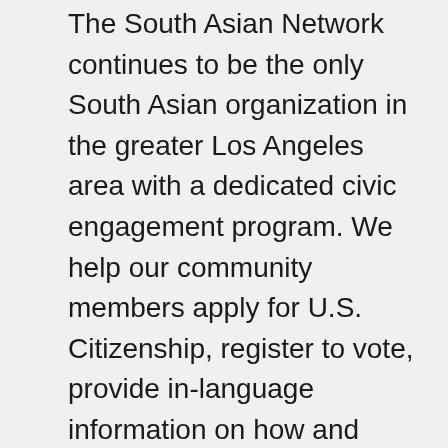The South Asian Network continues to be the only South Asian organization in the greater Los Angeles area with a dedicated civic engagement program. We help our community members apply for U.S. Citizenship, register to vote, provide in-language information on how and where to vote, advocate for language access, and ensure that they understand the importance of voting and cast their ballots via mail or in-person. In 2017, following President Trump's inauguration, we hosted a community town hall to address questions and fears South Asians had about the many new policies and executive orders that were being passed. Over the last four years, we hosted